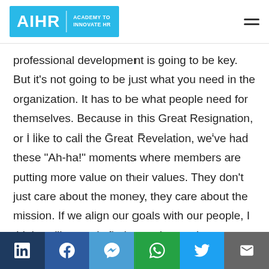AIHR | ACADEMY TO INNOVATE HR
professional development is going to be key. But it’s not going to be just what you need in the organization. It has to be what people need for themselves. Because in this Great Resignation, or I like to call the Great Revelation, we’ve had these “Ah-ha!” moments where members are putting more value on their values. They don’t just care about the money, they care about the mission. If we align our goals with our people, I think we’ll not only find more impact but
LinkedIn | Facebook | Messenger | WhatsApp | Twitter | Email